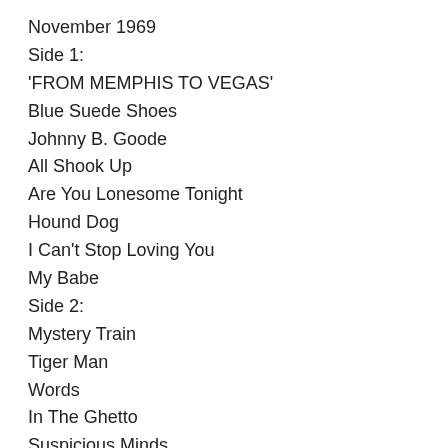November 1969
Side 1:
'FROM MEMPHIS TO VEGAS'
Blue Suede Shoes
Johnny B. Goode
All Shook Up
Are You Lonesome Tonight
Hound Dog
I Can't Stop Loving You
My Babe
Side 2:
Mystery Train
Tiger Man
Words
In The Ghetto
Suspicious Minds
Can't Help Falling In Love
Side 3:
'FROM VEGAS TO MEMPHIS'